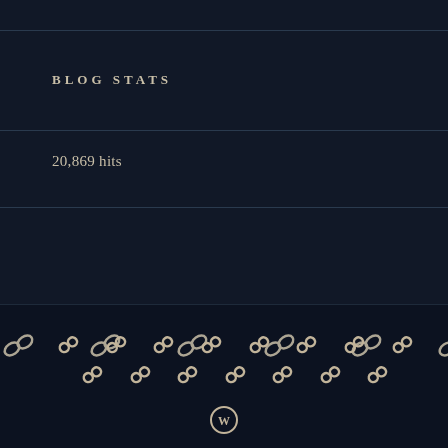BLOG STATS
20,869 hits
[Figure (illustration): Decorative chain link icons arranged in two diagonal rows against a dark background, followed by a WordPress logo icon at the bottom center.]